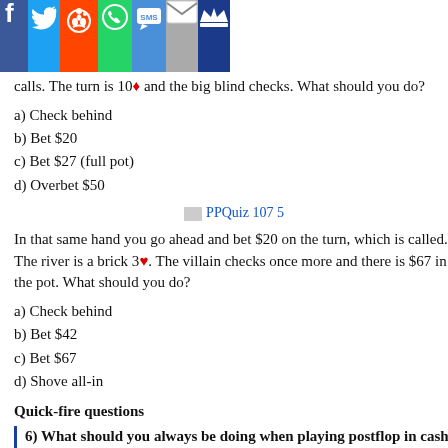[Figure (other): Social media sharing bar with icons for Facebook, Twitter, Reddit, WhatsApp, SMS, Email, and Crown/share]
calls. The turn is 10♦ and the big blind checks. What should you do?
a) Check behind
b) Bet $20
c) Bet $27 (full pot)
d) Overbet $50
[Figure (other): PPQuiz 107 5 image link]
In that same hand you go ahead and bet $20 on the turn, which is called. The river is a brick 3♥. The villain checks once more and there is $67 in the pot. What should you do?
a) Check behind
b) Bet $42
c) Bet $67
d) Shove all-in
Quick-fire questions
6) What should you always be doing when playing postflop in cash games?
a) Looking to stack your opponent
b) Bluffing
c) Planning ahead for the rest of the hand